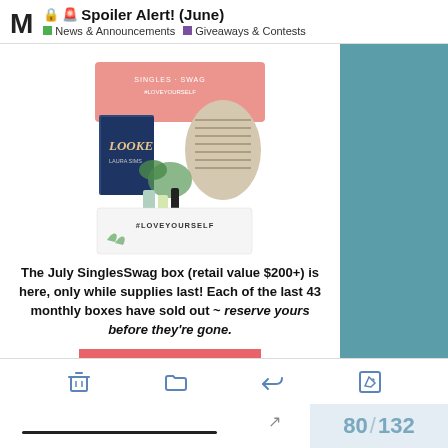🔒 🚨 Spoiler Alert! (June) — News & Announcements | Giveaways & Contests
[Figure (photo): Photo of a Singles Swag subscription box with products including a book titled 'Looker' by Laura Sims, skincare and beauty items, a hat, and a box labeled #LOVEYOURSELF]
The July SinglesSwag box (retail value $200+) is here, only while supplies last! Each of the last 43 monthly boxes have sold out ~ reserve yours before they're gone.
GET YOUR BOX
80 / 132